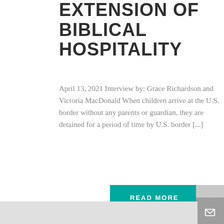EXTENSION OF BIBLICAL HOSPITALITY
April 13, 2021 Interview by: Grace Richardson and Victoria MacDonald When children arrive at the U.S. border without any parents or guardian, they are detained for a period of time by U.S. border [...]
[Figure (other): Teal 'READ MORE' button]
[Figure (other): Gray scroll-up chevron button on right side]
[Figure (other): Gray mail envelope button on right side]
[Figure (other): Light gray footer bar at bottom]